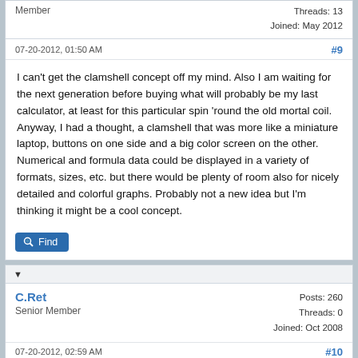Member
Threads: 13
Joined: May 2012
07-20-2012, 01:50 AM
#9
I can't get the clamshell concept off my mind. Also I am waiting for the next generation before buying what will probably be my last calculator, at least for this particular spin 'round the old mortal coil. Anyway, I had a thought, a clamshell that was more like a miniature laptop, buttons on one side and a big color screen on the other. Numerical and formula data could be displayed in a variety of formats, sizes, etc. but there would be plenty of room also for nicely detailed and colorful graphs. Probably not a new idea but I'm thinking it might be a cool concept.
Find
▼
C.Ret
Senior Member
Posts: 260
Threads: 0
Joined: Oct 2008
07-20-2012, 02:59 AM
#10